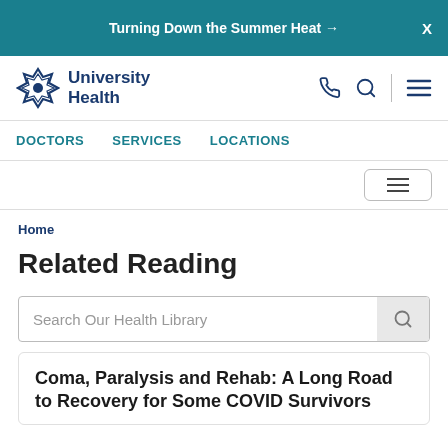Turning Down the Summer Heat →  X
[Figure (logo): University Health logo with star/snowflake icon and text 'University Health']
DOCTORS  SERVICES  LOCATIONS
Home
Related Reading
Search Our Health Library
Coma, Paralysis and Rehab: A Long Road to Recovery for Some COVID Survivors